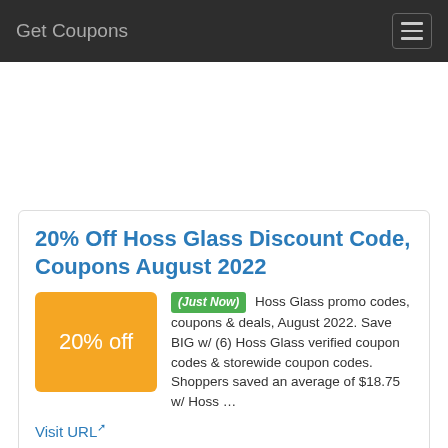Get Coupons
20% Off Hoss Glass Discount Code, Coupons August 2022
(Just Now) Hoss Glass promo codes, coupons & deals, August 2022. Save BIG w/ (6) Hoss Glass verified coupon codes & storewide coupon codes. Shoppers saved an average of $18.75 w/ Hoss …
Visit URL